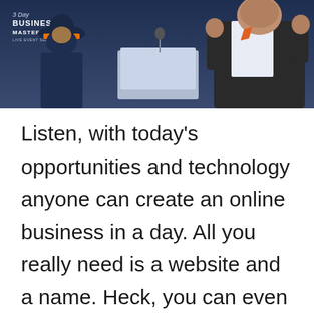[Figure (photo): A photo from a live event titled '3 Day Business Masterclass Live Event Series', showing two men at a panel, one in a dark suit with fist raised, in front of a blue background with the event logo visible in the top left.]
Listen, with today's opportunities and technology anyone can create an online business in a day. All you really need is a website and a name. Heck, you can even do it for free with a social media account or any other online entity.